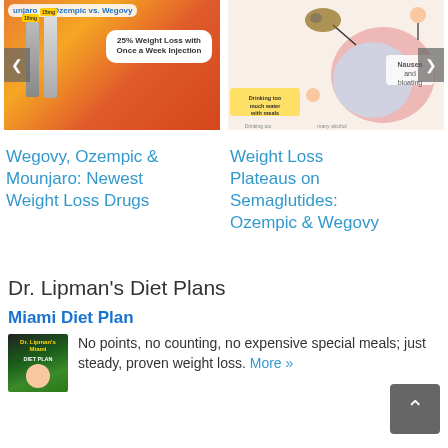[Figure (illustration): Promotional image for weight loss injection pens (Mounjaro vs Ozempic vs Wegovy) with orange background, two injection pens, and a speech bubble reading '25% Weight Loss with Once a Week Injection']
[Figure (illustration): Medical diagram of stomach showing semaglutide side effects including nausea and bloating, with cartoon figures showing various symptoms]
Wegovy, Ozempic & Mounjaro: Newest Weight Loss Drugs
Weight Loss Plateaus on Semaglutides: Ozempic & Wegovy
Dr. Lipman's Diet Plans
Miami Diet Plan
[Figure (illustration): Book cover for Dr. Lipman's Miami Diet Plan with green and black background]
No points, no counting, no expensive special meals; just steady, proven weight loss. More »